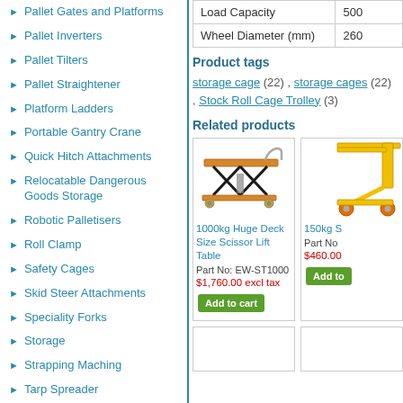Pallet Gates and Platforms
Pallet Inverters
Pallet Tilters
Pallet Straightener
Platform Ladders
Portable Gantry Crane
Quick Hitch Attachments
Relocatable Dangerous Goods Storage
Robotic Palletisers
Roll Clamp
Safety Cages
Skid Steer Attachments
Speciality Forks
Storage
Strapping Maching
Tarp Spreader
Terrain Movers
| Load Capacity | 500 |
| --- | --- |
| Wheel Diameter (mm) | 260 |
Product tags
storage cage (22) , storage cages (22) , Stock Roll Cage Trolley (3)
Related products
[Figure (photo): 1000kg Huge Deck Size Scissor Lift Table - orange/yellow scissor lift table product photo]
1000kg Huge Deck Size Scissor Lift Table
Part No: EW-ST1000
$1,760.00 excl tax
Add to cart
[Figure (photo): 150kg S... - partial yellow product image on right side]
150kg S
Part No
$460.00
Add to